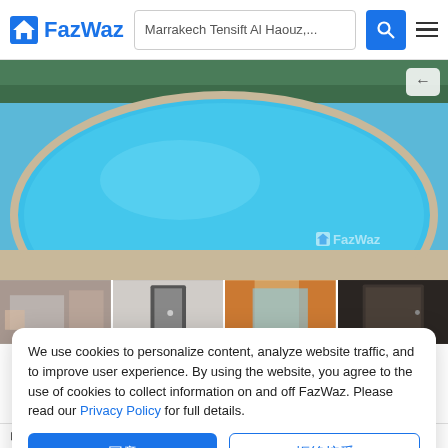FazWaz — Marrakech Tensift Al Haouz,...
[Figure (photo): Aerial/wide view of a large round swimming pool with bright blue water, surrounded by stone paving and green trees in the background. FazWaz watermark in bottom-right corner.]
[Figure (photo): Row of four thumbnail property photos: interior room, interior hallway/door, exterior/window view, dark interior door.]
We use cookies to personalize content, analyze website traffic, and to improve user experience. By using the website, you agree to the use of cookies to collect information on and off FazWaz. Please read our Privacy Policy for full details.
Accept | Decline Cookies
⊞ 4.5 ㎡